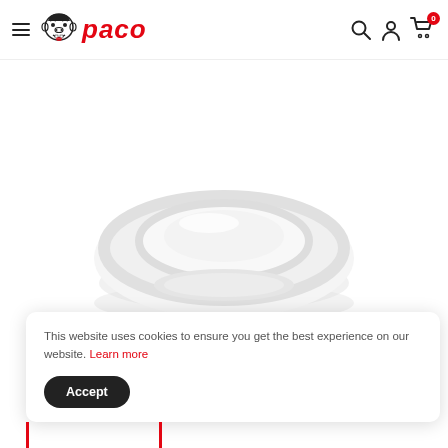Paco - Navigation bar with hamburger menu, logo, search, account, and cart icons
[Figure (photo): A white ceramic plate or dish photographed on a white background, showing concentric oval/circular ridges. The plate appears to be a shallow bowl or saucer shape viewed from slightly above.]
This website uses cookies to ensure you get the best experience on our website. Learn more
Accept